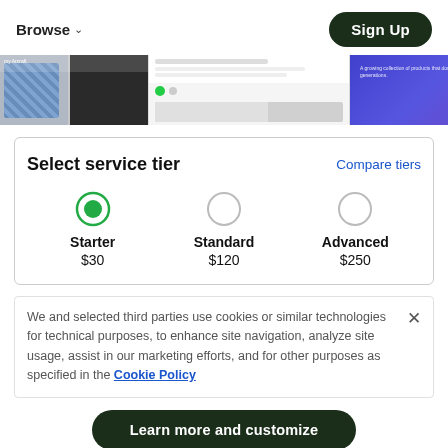Browse ˅   Sign Up
[Figure (screenshot): Three partially visible website screenshot thumbnails in a horizontal strip.]
Select service tier
Compare tiers
| Starter | Standard | Advanced |
| --- | --- | --- |
| $30 | $120 | $250 |
We and selected third parties use cookies or similar technologies for technical purposes, to enhance site navigation, analyze site usage, assist in our marketing efforts, and for other purposes as specified in the Cookie Policy
Learn more and customize